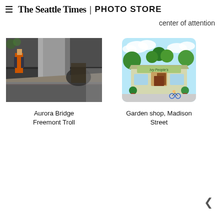≡  The Seattle Times | PHOTO STORE
center of attention
[Figure (photo): Aurora Bridge Freemont Troll — underneath a large bridge structure with a concrete pillar, a person with an orange backpack visible on the left, and a large troll figure lurking in the shadows]
Aurora Bridge Freemont Troll
[Figure (illustration): Garden shop on Madison Street — illustrated storefront with green plants, a colorful shop facade, trees in background, and a cyclist passing by]
Garden shop, Madison Street